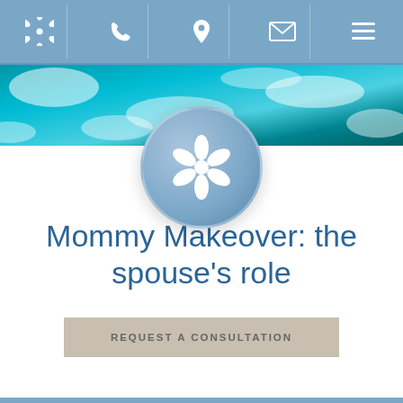[Figure (screenshot): Navigation bar with flower logo, phone, location pin, email, and hamburger menu icons on a blue background]
[Figure (photo): Ocean water background banner with turquoise waves and white foam]
[Figure (logo): White flower/lotus icon inside a circular blue gradient badge]
Mommy Makeover: the spouse's role
REQUEST A CONSULTATION